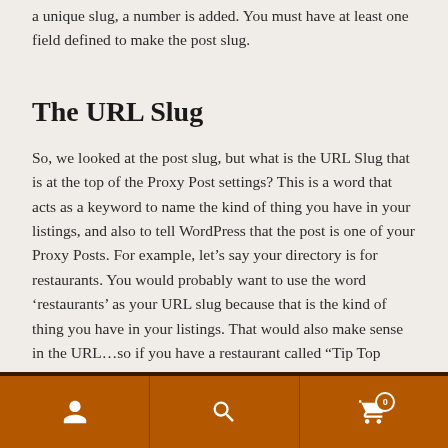a unique slug, a number is added. You must have at least one field defined to make the post slug.
The URL Slug
So, we looked at the post slug, but what is the URL Slug that is at the top of the Proxy Post settings? This is a word that acts as a keyword to name the kind of thing you have in your listings, and also to tell WordPress that the post is one of your Proxy Posts. For example, let’s say your directory is for restaurants. You would probably want to use the word ‘restaurants’ as your URL slug because that is the kind of thing you have in your listings. That would also make sense in the URL…so if you have a restaurant called “Tip Top Lounge” The URL for that listing could then be something